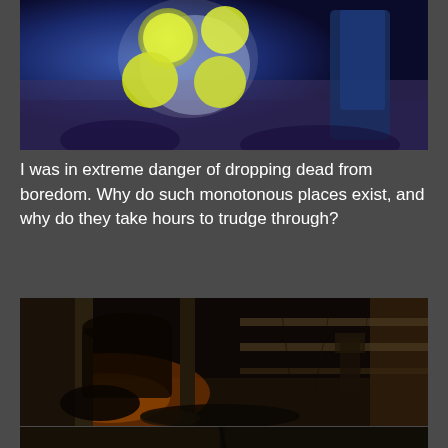[Figure (screenshot): Video game screenshot showing yellow glowing orbs/spheres against a blue-purple rocky/cave background, with a dark figure in blue robes on the right side]
I was in extreme danger of dropping dead from boredom. Why do such monotonous places exist, and why do they take hours to trudge through?
[Figure (screenshot): Dark video game screenshot showing an interior dungeon/cave scene with stone walls, columns, dim orange/warm lighting, and various objects and figures on the ground]
[Figure (screenshot): Partial video game screenshot showing another dark dungeon interior view]